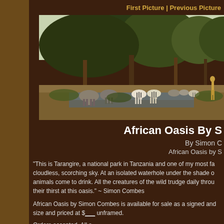First Picture | Previous Picture
[Figure (photo): Safari photo showing elephants and zebras drinking at a waterhole under acacia trees in Tarangire National Park, Tanzania]
African Oasis By S
By Simon C
African Oasis by S
“This is Tarangire, a national park in Tanzania and one of my most fa cloudless, scorching sky. At an isolated waterhole under the shade o animals come to drink. All the creatures of the wild trudge daily throu their thirst at this oasis.” ~ Simon Combes
African Oasis by Simon Combes is available for sale as a signed and size and priced at $___ unframed.
Orders accepted. All s...